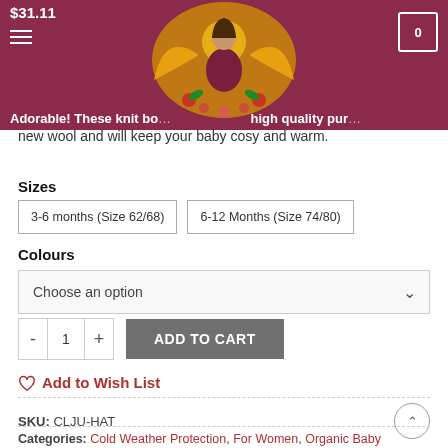$31.11
[Figure (illustration): Decorative illustration of a woman with golden birds and flowers on a dark red banner background]
Adorable! These knit bo... ...high quality pur... new wool and will keep your baby cosy and warm.
Sizes
3-6 months (Size 62/68)
6-12 Months (Size 74/80)
Colours
Choose an option
ADD TO CART
Add to Wish List
SKU: CLJU-HAT
Categories: Cold Weather Protection, For Women, Organic Baby Clothes,